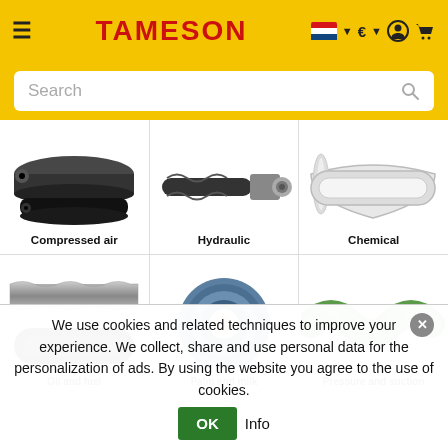TAMESON — navigation bar with hamburger menu, logo, Czech flag, Euro, account and cart icons
[Figure (screenshot): Search bar with placeholder text 'Search' and search icon on yellow background]
[Figure (photo): Compressed air hoses — two black rubber hoses]
Compressed air
[Figure (photo): Hydraulic hose with metal fitting connector]
Hydraulic
[Figure (photo): Chemical hose — white/translucent flexible tube]
Chemical
[Figure (photo): Oil and fuel hoses — braided metallic and black hoses]
Oil and fuel
[Figure (photo): Blue large diameter palm and milk hose coiled end]
Palm and milk
[Figure (photo): Green spiral suction hose]
Pressure and suction
We use cookies and related techniques to improve your experience. We collect, share and use personal data for the personalization of ads. By using the website you agree to the use of cookies.